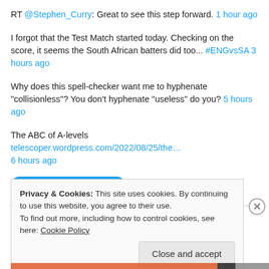RT @Stephen_Curry: Great to see this step forward. 1 hour ago
I forgot that the Test Match started today. Checking on the score, it seems the South African batters did too... #ENGvsSA 3 hours ago
Why does this spell-checker want me to hyphenate "collisionless"? You don't hyphenate "useless" do you? 5 hours ago
The ABC of A-levels telescoper.wordpress.com/2022/08/25/the… 6 hours ago
[Figure (other): Follow @telescoper Twitter button]
Privacy & Cookies: This site uses cookies. By continuing to use this website, you agree to their use. To find out more, including how to control cookies, see here: Cookie Policy
Close and accept